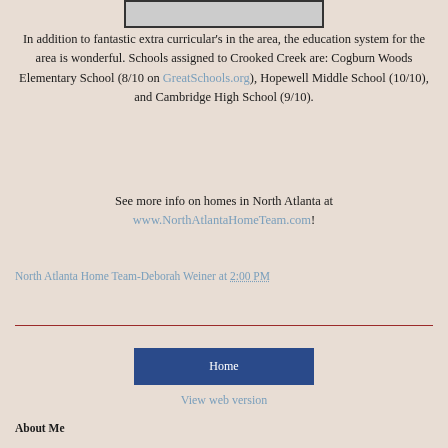[Figure (photo): Partial image of a map or aerial view at the top of the page]
In addition to fantastic extra curricular's in the area, the education system for the area is wonderful. Schools assigned to Crooked Creek are: Cogburn Woods Elementary School (8/10 on GreatSchools.org), Hopewell Middle School (10/10), and Cambridge High School (9/10).
See more info on homes in North Atlanta at www.NorthAtlantaHomeTeam.com!
North Atlanta Home Team-Deborah Weiner at 2:00 PM
Share
Home
View web version
About Me